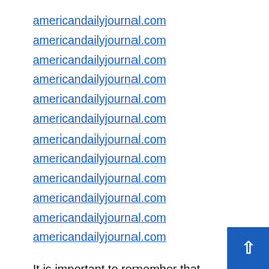americandailyjournal.com
americandailyjournal.com
americandailyjournal.com
americandailyjournal.com
americandailyjournal.com
americandailyjournal.com
americandailyjournal.com
americandailyjournal.com
americandailyjournal.com
americandailyjournal.com
americandailyjournal.com
americandailyjournal.com
It is important to remember that touristed games are a way of life for many people. They are who they are because they have been told by others that why they are doing them. When you play a